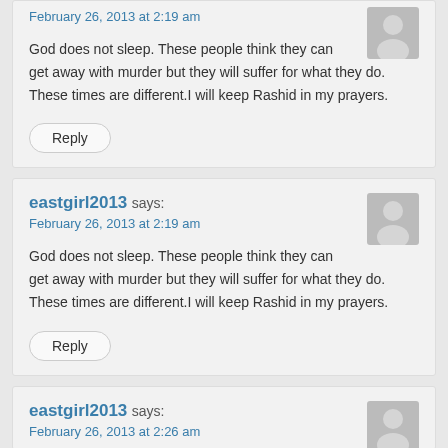February 26, 2013 at 2:19 am
God does not sleep. These people think they can get away with murder but they will suffer for what they do. These times are different.I will keep Rashid in my prayers.
Reply
eastgirl2013 says:
February 26, 2013 at 2:19 am
God does not sleep. These people think they can get away with murder but they will suffer for what they do. These times are different.I will keep Rashid in my prayers.
Reply
eastgirl2013 says:
February 26, 2013 at 2:26 am